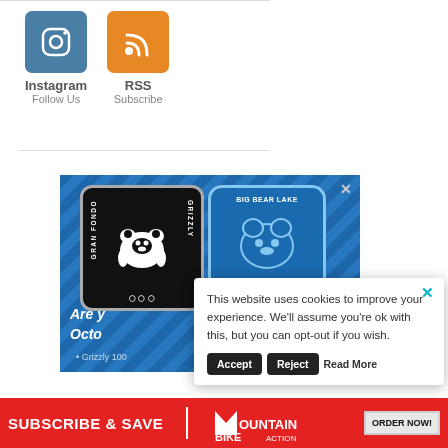[Figure (infographic): Social media icons for Instagram (blue square with camera icon) and RSS (orange square with RSS feed icon)]
Instagram
Follow Us
RSS
Subscribe
[Figure (illustration): Advertisement banner for Gran Fondo Big Bear Lake event on blue diagonal background, featuring a black badge with bear silhouette labeled 'Gran Fondo' and a blue shield badge labeled 'Big Bear Lake'. Text reads 'Are y...' and 'Octo...' with bullet point 'Grizzly 100']
This website uses cookies to improve your experience. We'll assume you're ok with this, but you can opt-out if you wish.
Accept  Reject  Read More
SUBSCRIBE & SAVE  MOUNTAINBIKE ACTION  ORDER NOW!